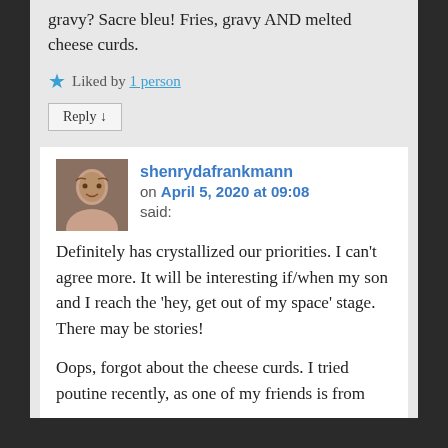gravy? Sacre bleu! Fries, gravy AND melted cheese curds.
★ Liked by 1 person
Reply ↓
shenrydafrankmann on April 5, 2020 at 09:08 said:
Definitely has crystallized our priorities. I can't agree more. It will be interesting if/when my son and I reach the 'hey, get out of my space' stage. There may be stories!
Oops, forgot about the cheese curds. I tried poutine recently, as one of my friends is from